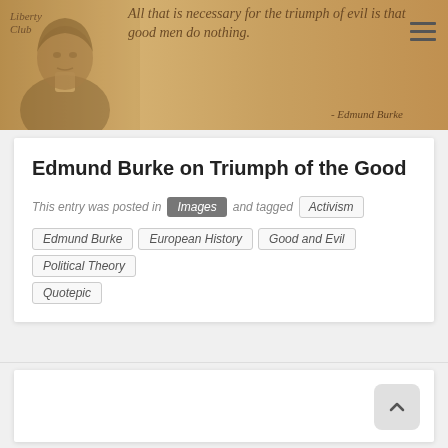Liberty Club
[Figure (illustration): Header banner with sepia portrait of Edmund Burke on left and decorative quote text on parchment-colored background. Quote reads: 'All that is necessary for the triumph of evil is that good men do nothing. - Edmund Burke']
Edmund Burke on Triumph of the Good
This entry was posted in Images and tagged Activism Edmund Burke European History Good and Evil Political Theory Quotepic